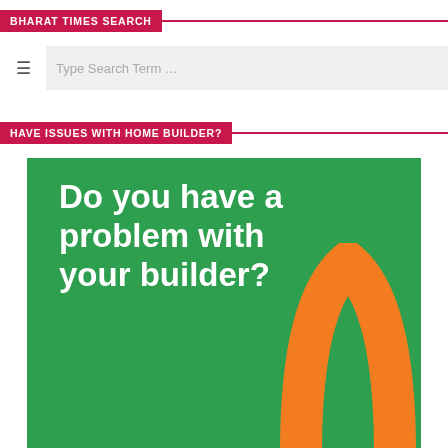BHARAT TIMES SEARCH
Type Search Term …
HAVE ISSUES WITH HOME BUILDER?
[Figure (illustration): Green background promotional image with white bold text reading 'Do you have a problem with your builder?' and an orange arch/house shape in the bottom right corner]